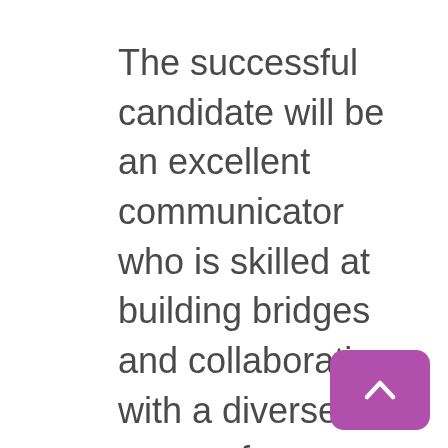The successful candidate will be an excellent communicator who is skilled at building bridges and collaborating with a diverse group of colleagues across the organization, as well as in the community.  This position requires a confident, proven leader who is comfortable with a high degree of change and who can remain
[Figure (other): Purple rounded rectangle button with a white upward-pointing chevron arrow icon, positioned in the bottom-right corner of the page.]